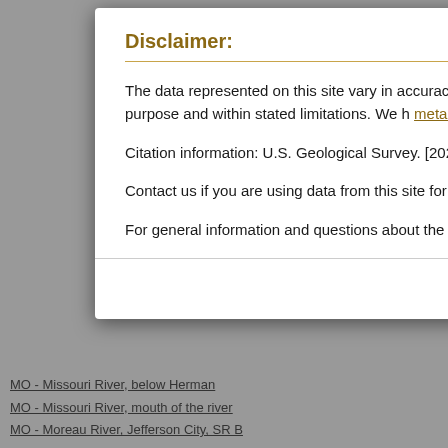Disclaimer:
The data represented on this site vary in accuracy, s coverage and origin. It is the user's responsibility to use the data for its intended purpose and within stated limitations. We h metadata files prior to interpreting these data.
Citation information: U.S. Geological Survey. [2022]. Database. Gainesville, Florida. Accessed [9/2/2022].
Contact us if you are using data from this site for a p being used appropriately and for potential co-authors
For general information and questions about the dat problems and technical issues, contact Matthew Nei
MO - Missouri River, below Herman
MO - Missouri River, mouth of the river
MO - Moreau River, Jefferson City, SR B